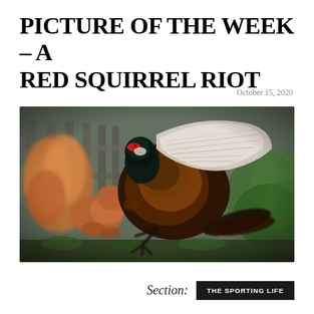PICTURE OF THE WEEK – A RED SQUIRREL RIOT
October 15, 2020
[Figure (photo): A red squirrel and a pheasant appear to be fighting or interacting dramatically mid-air, with the pheasant's wings spread wide. A wooden fence is visible in the background and vegetation on the right. The squirrel's fluffy tail is prominent on the left side of the image.]
Section: THE SPORTING LIFE